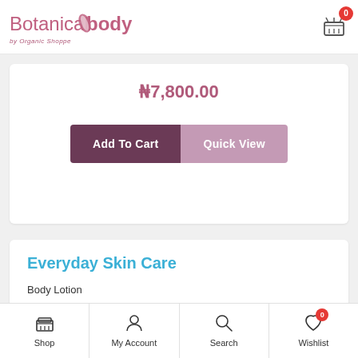Botanical Body by Organic Shoppe — Cart: 0
₦7,800.00
Add To Cart | Quick View
Everyday Skin Care
Body Lotion
Deodorant
Shop | My Account | Search | Wishlist 0